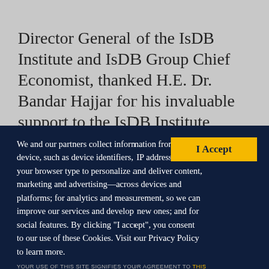Director General of the IsDB Institute and IsDB Group Chief Economist, thanked H.E. Dr. Bandar Hajjar for his invaluable support to the IsDB Institute towards the success of the Smart
[Figure (screenshot): Cookie consent banner overlay on dark navy background with 'I Accept' yellow button and privacy policy text]
We and our partners collect information from your device, such as device identifiers, IP address, and your browser type to personalize and deliver content, marketing and advertising—across devices and platforms; for analytics and measurement, so we can improve our services and develop new ones; and for social features. By clicking “I accept”, you consent to our use of these Cookies. Visit our Privacy Policy to learn more.
YOUR USE OF THIS SITE SIGNIFIES YOUR AGREEMENT TO THIS PRIVACY POLICY.